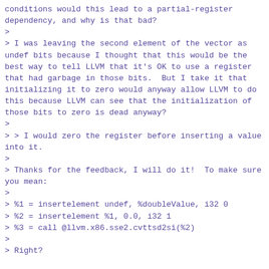conditions would this lead to a partial-register dependency, and why is that bad?
>
> I was leaving the second element of the vector as undef bits because I thought that this would be the best way to tell LLVM that it's OK to use a register that had garbage in those bits.  But I take it that initializing it to zero would anyway allow LLVM to do this because LLVM can see that the initialization of those bits to zero is dead anyway?
>
> > I would zero the register before inserting a value into it.
>
> Thanks for the feedback, I will do it!  To make sure you mean:
>
> %1 = insertelement undef, %doubleValue, i32 0
> %2 = insertelement %1, 0.0, i32 1
> %3 = call @llvm.x86.sse2.cvttsd2si(%2)
>
> Right?
OK, I made this change and it seems to work.  I will land with this change.  In particular, here's what the relevant method looks like now:
LValue sensibleDoubleToInt(LValue value)
    {